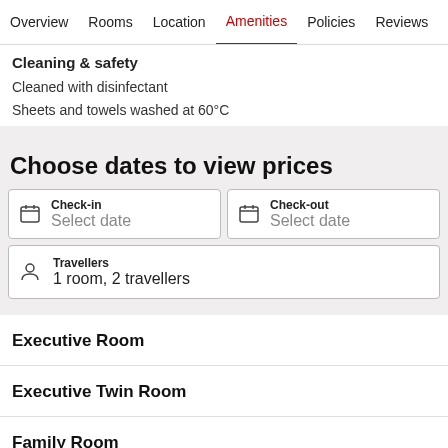Overview  Rooms  Location  Amenities  Policies  Reviews
Cleaning & safety
Cleaned with disinfectant
Sheets and towels washed at 60°C
Choose dates to view prices
Check-in  Select date
Check-out  Select date
Travellers  1 room, 2 travellers
Executive Room
Executive Twin Room
Family Room